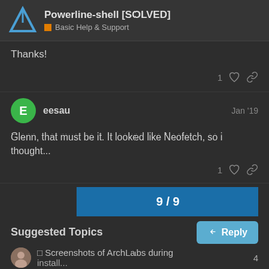Powerline-shell [SOLVED] — Basic Help & Support
Thanks!
1 ♡ link
eesau   Jan '19
Glenn, that must be it. It looked like Neofetch, so i thought...
1 ♡ link
9 / 9
Reply
Suggested Topics
Screenshots of ArchLabs during install...   4